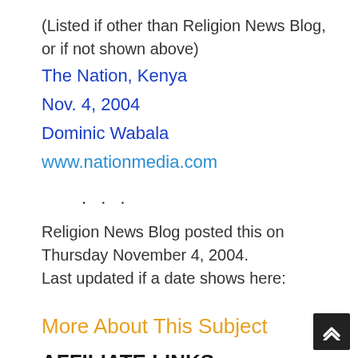(Listed if other than Religion News Blog, or if not shown above)
The Nation, Kenya
Nov. 4, 2004
Dominic Wabala
www.nationmedia.com
· · ·
Religion News Blog posted this on Thursday November 4, 2004.
Last updated if a date shows here:
More About This Subject
AFFILIATE LINKS